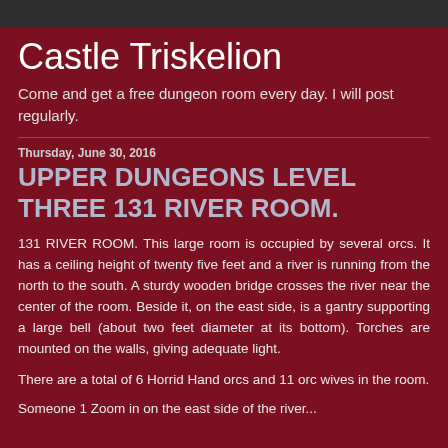Castle Triskelion
Come and get a free dungeon room every day. I will post regularly.
Thursday, June 30, 2016
UPPER DUNGEONS LEVEL THREE 131 RIVER ROOM.
131 RIVER ROOM. This large room is occupied by several orcs. It has a ceiling height of twenty five feet and a river is running from the north to the south. A sturdy wooden bridge crosses the river near the center of the room. Beside it, on the east side, is a gantry supporting a large bell (about two feet diameter at its bottom). Torches are mounted on the walls, giving adequate light.
There are a total of 6 Horrid Hand orcs and 11 orc wives in the room.
Someone 1 Zoom in on the east side of the river...